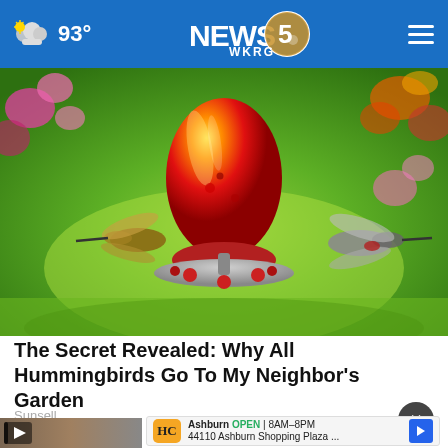NEWS 5 WKRG · 93°
[Figure (photo): Colorful glass hummingbird feeder with red/orange/yellow blown glass globe, two hummingbirds hovering near it, surrounded by pink flowers and green foliage]
The Secret Revealed: Why All Hummingbirds Go To My Neighbor's Garden
Sunsell
[Figure (screenshot): Advertisement banner: Ashburn OPEN 8AM-8PM, 44110 Ashburn Shopping Plaza... HC logo in orange, navigation arrow icon in blue]